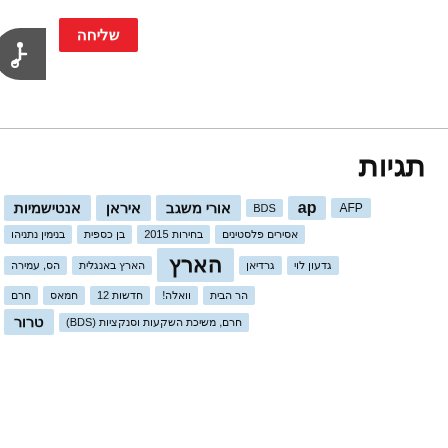[Figure (other): Red button with Hebrew text שליחה (Send/Submit)]
[Figure (other): Accessibility icon (wheelchair symbol) in grey rounded button on right edge]
תגיות
AFP
ap
BDS
אורי משגב
איראן
אנטישמיות
אסירים פלסטינים
בחירות 2015
בן כספית
בנימין נתניהו
גדעון לוי
גרדיאן
הארץ
הארץ באנגלית
הס, עמירה
הר הבית
וואלה!
חדשות 12
חמאס
חרם
חרם, משיכת השקעות וסנקציות (BDS)
טרור